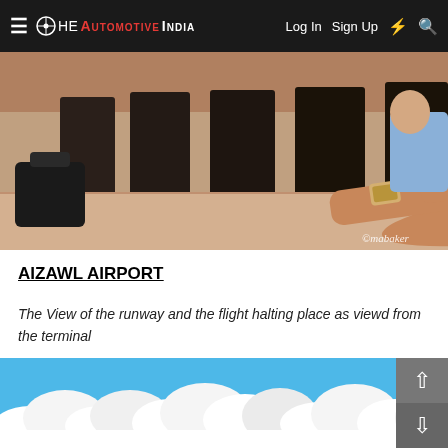THE AUTOMOTIVE INDIA — Log In  Sign Up
[Figure (photo): Interior of an airport waiting lounge showing dark seats and a person's arm resting on armrest, with a watch. Watermark: ©mabaker]
AIZAWL AIRPORT
The View of the runway and the flight halting place as viewd from the terminal
[Figure (photo): Bottom portion of image showing blue sky with white clouds, from the airport terminal view]